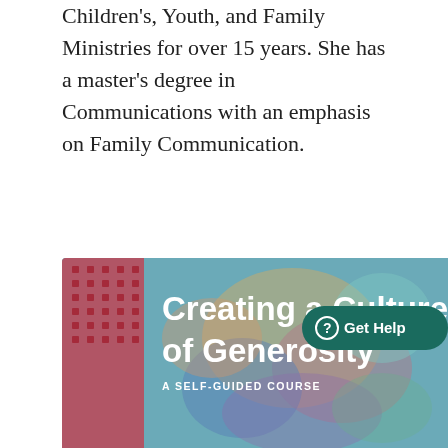Children's, Youth, and Family Ministries for over 15 years. She has a master's degree in Communications with an emphasis on Family Communication.
Executive Certificate in Religious Fundraising: Luther Seminary, in partnership with the Lake Institute on Faith and Giving, is hosting a four-day intensive course, May 7–10, 2018. For more information visit: Lake Institute
[Figure (illustration): Banner image for 'Creating a Culture of Generosity - A Self-Guided Course' with colorful abstract background and a teal 'Get Help' button in the top right corner. Red diamond pattern on the left side.]